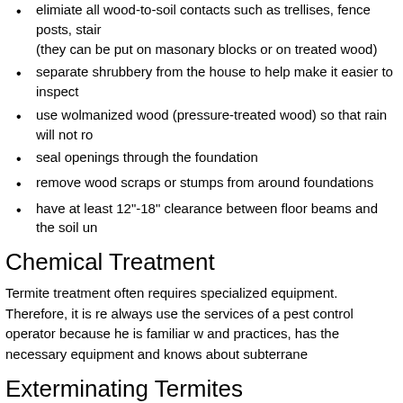elimiate all wood-to-soil contacts such as trellises, fence posts, stair (they can be put on masonary blocks or on treated wood)
separate shrubbery from the house to help make it easier to inspect
use wolmanized wood (pressure-treated wood) so that rain will not ro
seal openings through the foundation
remove wood scraps or stumps from around foundations
have at least 12"-18" clearance between floor beams and the soil un
Chemical Treatment
Termite treatment often requires specialized equipment. Therefore, it is re always use the services of a pest control operator because he is familiar w and practices, has the necessary equipment and knows about subterrane
Exterminating Termites
If you think you have a termite infestation in your house, you need to call a company to conduct a professional inspection. To find a company, ask frie recommendations, or check the yellow pages. If the inspection finds evide you have several options, depending on the degree of infestation. Fumiga entire house are the only options that ensure eradication in the entire stru contained in a small area, local or spot control may be effective. However other part of the structure will not be eredicated.